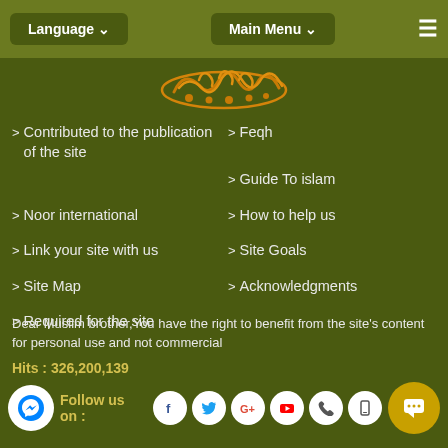Language ∨   Main Menu ∨   ≡
[Figure (logo): Arabic calligraphy logo in gold/orange on dark green background]
> Contributed to the publication of the site
> Feqh
> Guide To islam
> Noor international
> How to help us
> Link your site with us
> Site Goals
> Site Map
> Acknowledgments
> Required for the site
Dear Muslim brother,You have the right to benefit from the site's content for personal use and not commercial
Hits : 326,200,139
Follow us on : [Facebook] [Twitter] [Google+] [YouTube] [Phone] [Mobile] [Chat]